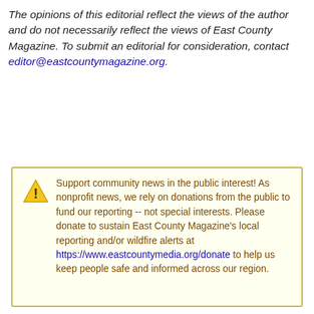The opinions of this editorial reflect the views of the author and do not necessarily reflect the views of East County Magazine. To submit an editorial for consideration, contact editor@eastcountymagazine.org.
Support community news in the public interest! As nonprofit news, we rely on donations from the public to fund our reporting -- not special interests. Please donate to sustain East County Magazine's local reporting and/or wildfire alerts at https://www.eastcountymedia.org/donate to help us keep people safe and informed across our region.